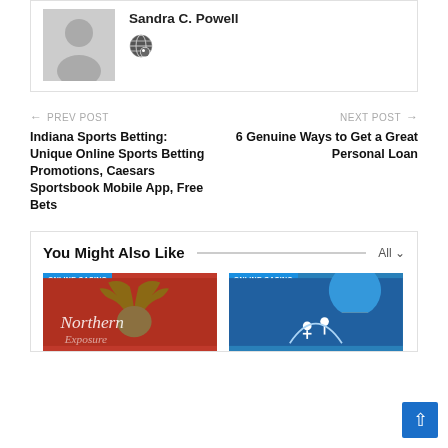Sandra C. Powell
[Figure (illustration): Globe/website icon]
← PREV POST
Indiana Sports Betting: Unique Online Sports Betting Promotions, Caesars Sportsbook Mobile App, Free Bets
NEXT POST →
6 Genuine Ways to Get a Great Personal Loan
You Might Also Like
[Figure (photo): Northern Exposure online casino card with moose on red background]
[Figure (illustration): Online Casino card with pie chart graphic on blue background]